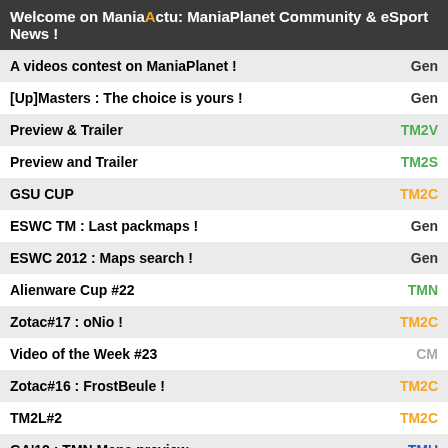Welcome on ManiaActu: ManiaPlanet Community & eSport News !
| Title | Tag |
| --- | --- |
| A videos contest on ManiaPlanet ! | Gen |
| [Up]Masters : The choice is yours ! | Gen |
| Preview & Trailer | TM2V |
| Preview and Trailer | TM2S |
| GSU CUP | TM2C |
| ESWC TM : Last packmaps ! | Gen |
| ESWC 2012 : Maps search ! | Gen |
| Alienware Cup #22 | TMN |
| Zotac#17 : oNio ! | TM2C |
| Video of the Week #23 | CM |
| Zotac#16 : FrostBeule ! | TM2C |
| TM2L#2 | TM2C |
| GA'12 : TMN Maps preview | TMU |
| TFET1: Registrations are open ! | Compet |
« Previous 1 | 2 Next » 1 of 2